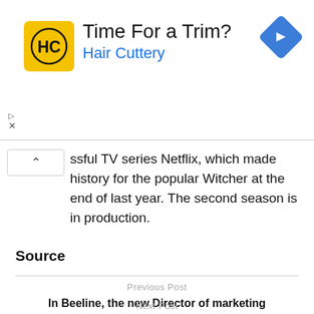[Figure (logo): Hair Cuttery advertisement banner with yellow HC logo, title 'Time For a Trim?', subtitle 'Hair Cuttery' in blue, and a blue diamond navigation icon]
ssful TV series Netflix, which made history for the popular Witcher at the end of last year. The second season is in production.
Source
Previous Post
In Beeline, the new Director of marketing communications
Next Post